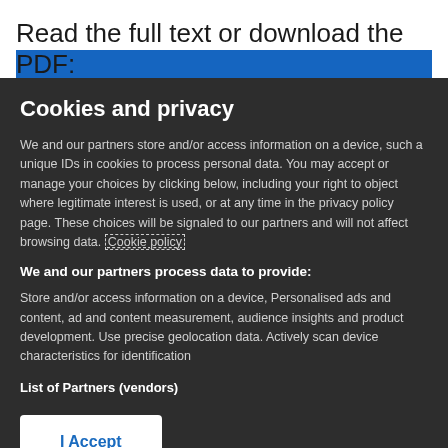Read the full text or download the PDF:
Cookies and privacy
We and our partners store and/or access information on a device, such a unique IDs in cookies to process personal data. You may accept or manage your choices by clicking below, including your right to object where legitimate interest is used, or at any time in the privacy policy page. These choices will be signaled to our partners and will not affect browsing data. Cookie policy
We and our partners process data to provide:
Store and/or access information on a device, Personalised ads and content, ad and content measurement, audience insights and product development. Use precise geolocation data. Actively scan device characteristics for identification
List of Partners (vendors)
I Accept